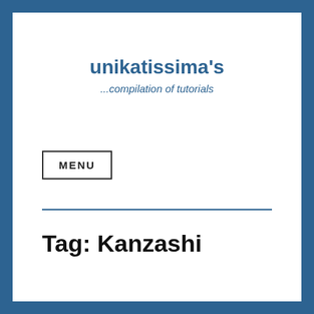unikatissima's
...compilation of tutorials
MENU
Tag: Kanzashi